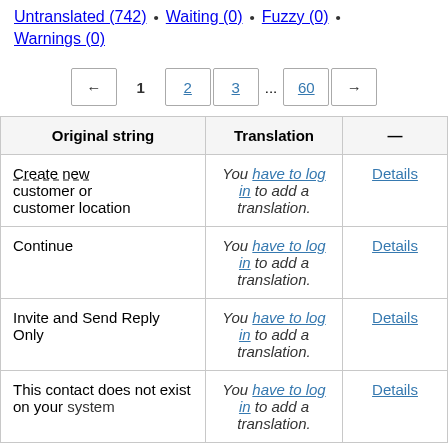Untranslated (742) • Waiting (0) • Fuzzy (0) • Warnings (0)
[Figure (other): Pagination control with buttons: ←, 1 (bold), 2, 3, ..., 60, →]
| Original string | Translation | — |
| --- | --- | --- |
| Create new customer or customer location | You have to log in to add a translation. | Details |
| Continue | You have to log in to add a translation. | Details |
| Invite and Send Reply Only | You have to log in to add a translation. | Details |
| This contact does not exist on your system | You have to log in to add a translation. | Details |